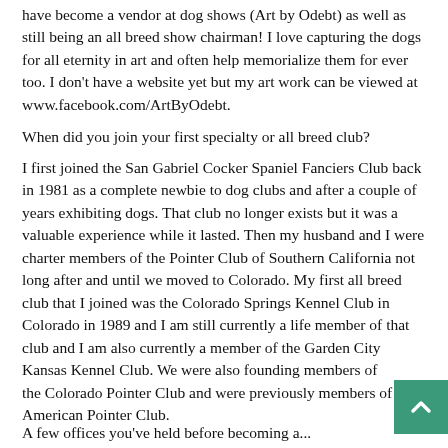have become a vendor at dog shows (Art by Odebt) as well as still being an all breed show chairman! I love capturing the dogs for all eternity in art and often help memorialize them for ever too. I don't have a website yet but my art work can be viewed at www.facebook.com/ArtByOdebt.
When did you join your first specialty or all breed club?
I first joined the San Gabriel Cocker Spaniel Fanciers Club back in 1981 as a complete newbie to dog clubs and after a couple of years exhibiting dogs. That club no longer exists but it was a valuable experience while it lasted. Then my husband and I were charter members of the Pointer Club of Southern California not long after and until we moved to Colorado. My first all breed club that I joined was the Colorado Springs Kennel Club in Colorado in 1989 and I am still currently a life member of that club and I am also currently a member of the Garden City Kansas Kennel Club. We were also founding members of the Colorado Pointer Club and were previously members of the American Pointer Club.
A few offices you've held before becoming a...